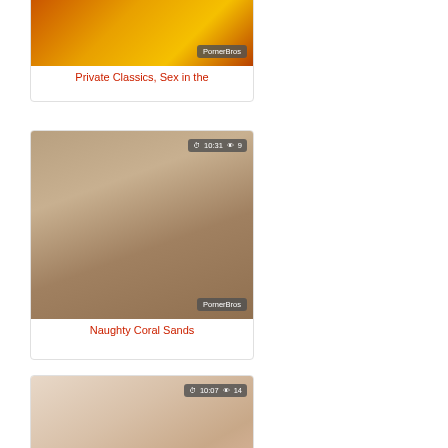[Figure (screenshot): Video thumbnail for 'Private Classics, Sex in the' with PornerBros watermark, showing fire/warm tones background]
Private Classics, Sex in the
[Figure (screenshot): Video thumbnail for 'Naughty Coral Sands' with duration 10:31, 9 views, PornerBros watermark]
Naughty Coral Sands
[Figure (screenshot): Video thumbnail for 'Hot brunette toying pussy in' with duration 10:07, 14 views, PornerBros watermark]
Hot brunette toying pussy in